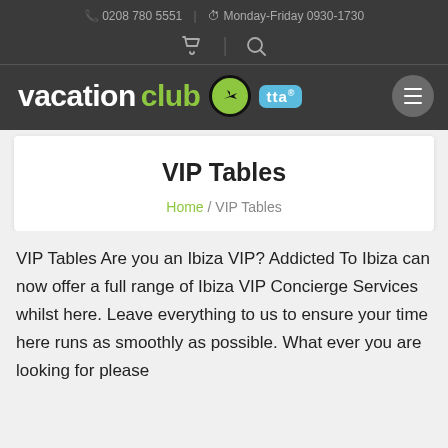0208 780 5551   Monday-Friday 0930-1730
[Figure (logo): Vacation Club logo with plane icon in green circle, TTA badge, and hamburger menu button on dark grey header bar]
VIP Tables
Home / VIP Tables
VIP Tables Are you an Ibiza VIP? Addicted To Ibiza can now offer a full range of Ibiza VIP Concierge Services whilst here. Leave everything to us to ensure your time here runs as smoothly as possible. What ever you are looking for please